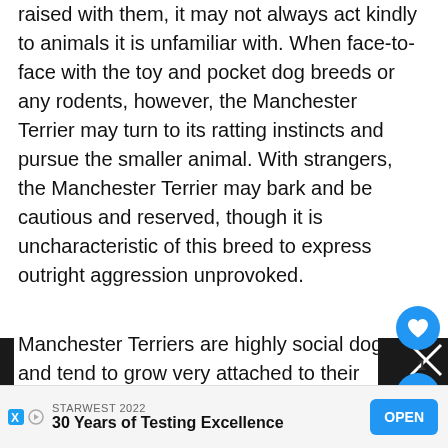raised with them, it may not always act kindly to animals it is unfamiliar with. When face-to-face with the toy and pocket dog breeds or any rodents, however, the Manchester Terrier may turn to its ratting instincts and pursue the smaller animal. With strangers, the Manchester Terrier may bark and be cautious and reserved, though it is uncharacteristic of this breed to express outright aggression unprovoked.
Manchester Terriers are highly social dogs and tend to grow very attached to their families. When traveling, the Manchester Terrier will certainly want to tag along, and its manageable size make doing so well within reason. The Manchester Terrier's adaptability also makes it
[Figure (illustration): Small circular heart icon button (blue background, white heart) and share icon button visible on right side; dog illustration partially visible]
WHAT'S NEXT → Toy Fox Terrier Dog...
STARWEST 2022
30 Years of Testing Excellence
OPEN